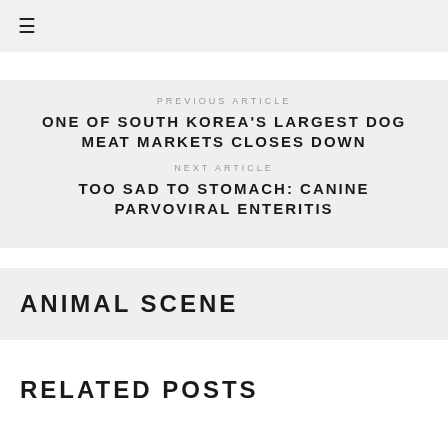☰
PREVIOUS ARTICLE
ONE OF SOUTH KOREA'S LARGEST DOG MEAT MARKETS CLOSES DOWN
NEXT ARTICLE
TOO SAD TO STOMACH: CANINE PARVOVIRAL ENTERITIS
ANIMAL SCENE
RELATED POSTS